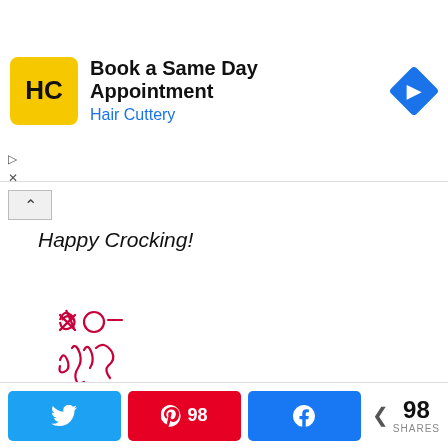[Figure (other): Hair Cuttery advertisement banner: logo (yellow square with HC letters), headline 'Book a Same Day Appointment', subhead 'Hair Cuttery', and a blue navigation/directions icon on the right.]
Happy Crocking!
[Figure (illustration): Handwritten red signature reading 'xo- Jenn']
[Figure (photo): Partial photo of a smiling woman with long brown hair, blurred background of a building.]
98 SHARES